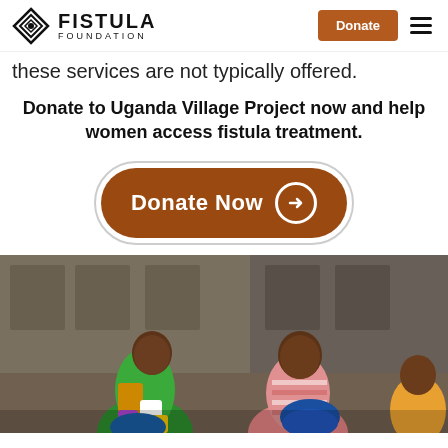Fistula Foundation | Donate
these services are not typically offered.
Donate to Uganda Village Project now and help women access fistula treatment.
[Figure (other): Donate Now button with arrow circle icon, orange/brown rounded rectangle with border]
[Figure (photo): Two smiling women in colorful clothing standing in front of a building, holding fabric items]